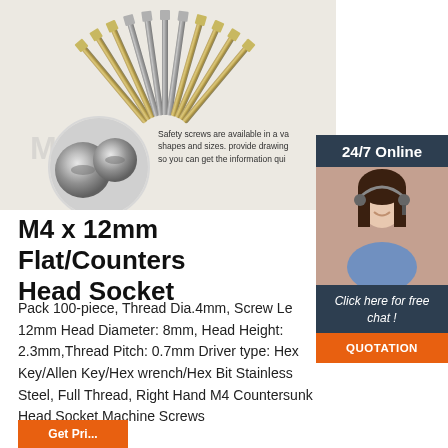[Figure (photo): Product photo showing M4 x 12mm flat/countersunk head socket screws arranged in a fan shape, with a circular close-up of screw heads in the lower left. Text overlay reads: Safety screws are available in a variety of shapes and sizes, provide drawing so you can get the information quickly.]
[Figure (photo): Sidebar showing a customer service representative wearing a headset, smiling, against a dark blue background. Text reads '24/7 Online' at top and 'Click here for free chat!' below the photo, with an orange QUOTATION button.]
M4 x 12mm Flat/Countersunk Head Socket
Pack 100-piece, Thread Dia.4mm, Screw Length: 12mm Head Diameter: 8mm, Head Height: 2.3mm,Thread Pitch: 0.7mm Driver type: Hex Key/Allen Key/Hex wrench/Hex Bit Stainless Steel, Full Thread, Right Hand M4 Countersunk Head Socket Machine Screws